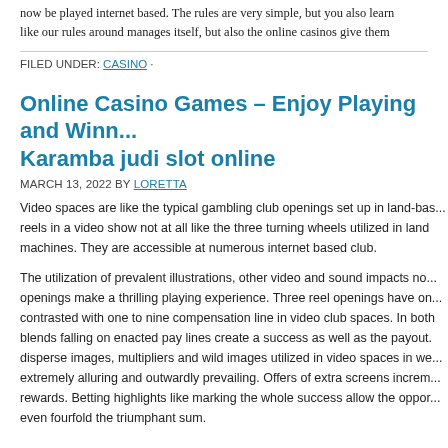now be played internet based. The rules are very simple, but you also learn like our rules around manages itself, but also the online casinos give them
FILED UNDER: CASINO ·
Online Casino Games – Enjoy Playing and Winn... Karamba judi slot online
MARCH 13, 2022 BY LORETTA
Video spaces are like the typical gambling club openings set up in land-bas... reels in a video show not at all like the three turning wheels utilized in land machines. They are accessible at numerous internet based club.
The utilization of prevalent illustrations, other video and sound impacts no... openings make a thrilling playing experience. Three reel openings have on... contrasted with one to nine compensation line in video club spaces. In both blends falling on enacted pay lines create a success as well as the payout. disperse images, multipliers and wild images utilized in video spaces in we... extremely alluring and outwardly prevailing. Offers of extra screens increm... rewards. Betting highlights like marking the whole success allow the oppor... even fourfold the triumphant sum.